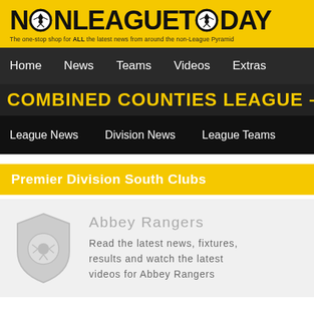NONLEAGUETODAY
The one-stop shop for ALL the latest news from around the non-League Pyramid
Home  News  Teams  Videos  Extras
COMBINED COUNTIES LEAGUE – C
League News  Division News  League Teams
Premier Division South Clubs
[Figure (logo): Shield/crest placeholder icon with football]
Abbey Rangers
Read the latest news, fixtures, results and watch the latest videos for Abbey Rangers